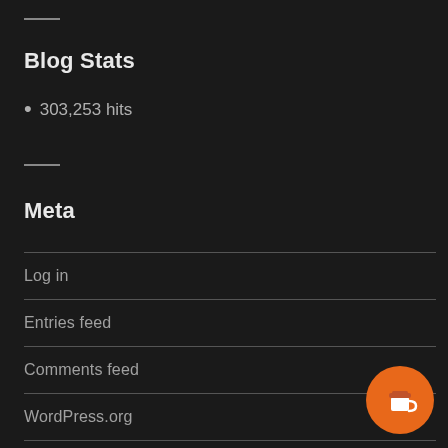Blog Stats
303,253 hits
Meta
Log in
Entries feed
Comments feed
WordPress.org